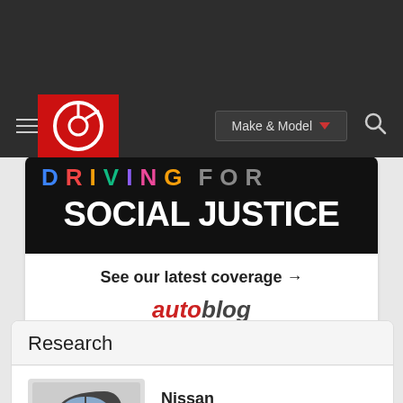Make & Model navigation bar with hamburger menu, logo, make & model dropdown, and search icon
[Figure (screenshot): Autoblog advertisement banner with colorful letters and text 'SOCIAL JUSTICE' on black background, 'See our latest coverage →' link, and autoblog logo]
Research
Nissan
MSRP: $19,950 - $22,700